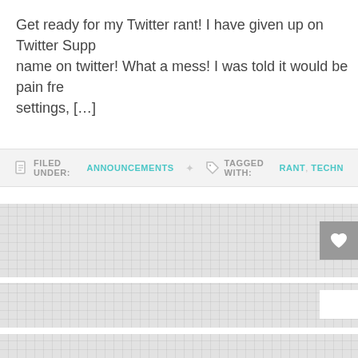Get ready for my Twitter rant! I have given up on Twitter Supp… name on twitter! What a mess! I was told it would be pain fre… settings, […]
FILED UNDER: ANNOUNCEMENTS   TAGGED WITH: RANT, TECHN…
[Figure (screenshot): Gray textured card with heart/favorite button on the right]
[Figure (screenshot): Gray textured card with white button on the right]
[Figure (screenshot): Gray textured card, partial view at bottom]